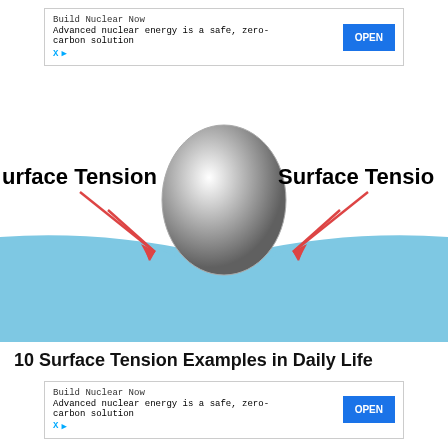[Figure (other): Advertisement banner: 'Build Nuclear Now — Advanced nuclear energy is a safe, zero-carbon solution' with OPEN button]
[Figure (illustration): Diagram showing a metallic sphere (ball) resting on a water surface, with arrows labeled 'Surface Tension' on both left and right sides pointing upward toward the contact points where the sphere meets the water surface. The water surface dips under the weight of the sphere.]
10 Surface Tension Examples in Daily Life
[Figure (other): Advertisement banner: 'Build Nuclear Now — Advanced nuclear energy is a safe, zero-carbon solution' with OPEN button]